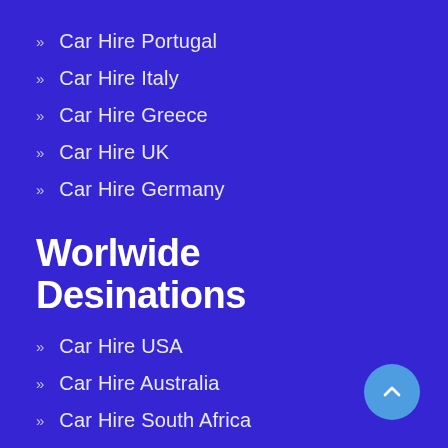Car Hire Portugal
Car Hire Italy
Car Hire Greece
Car Hire UK
Car Hire Germany
Worlwide Desinations
Car Hire USA
Car Hire Australia
Car Hire South Africa
Car Hire Mexico